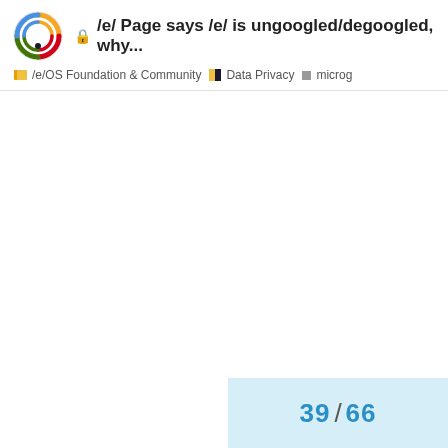/e/ Page says /e/ is ungoogled/degoogled, why... | /e/OS Foundation & Community | Data Privacy | microg
39 / 66